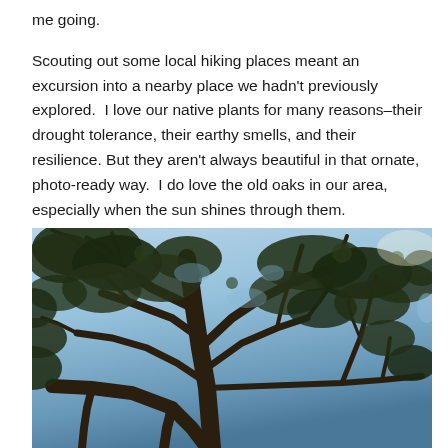me going.
Scouting out some local hiking places meant an excursion into a nearby place we hadn't previously explored.  I love our native plants for many reasons–their drought tolerance, their earthy smells, and their resilience. But they aren't always beautiful in that ornate, photo-ready way.  I do love the old oaks in our area, especially when the sun shines through them.
[Figure (photo): A photograph taken looking up through the canopy of old oak trees, showing large spreading branches with green foliage against a bright blue sky with sunlight visible through the upper right of the image.]